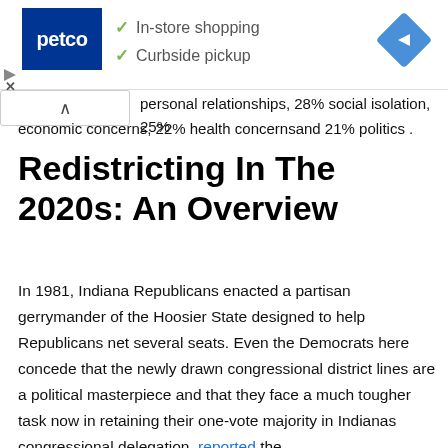[Figure (other): Petco advertisement banner with Petco logo, checkmarks for In-store shopping and Curbside pickup, and a blue navigation diamond icon]
personal relationships, 28% social isolation, 25% economic concerns, 22% health concernsand 21% politics .
Redistricting In The 2020s: An Overview
In 1981, Indiana Republicans enacted a partisan gerrymander of the Hoosier State designed to help Republicans net several seats. Even the Democrats here concede that the newly drawn congressional district lines are a political masterpiece and that they face a much tougher task now in retaining their one-vote majority in Indianas congressional delegation, reported the